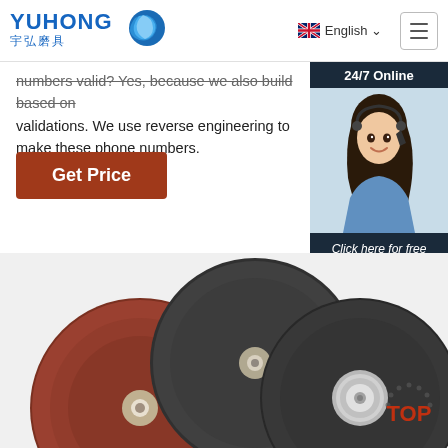YUHONG 宇弘磨具 | English | Menu
numbers valid? Yes, because we also build based on validations. We use reverse engineering to make these phone numbers.
[Figure (screenshot): Get Price button - brown/dark red rectangular button with white text]
[Figure (infographic): 24/7 Online chat widget with photo of customer service representative, 'Click here for free chat!' text, and QUOTATION orange button]
[Figure (photo): Three grinding/cutting discs - one reddish-brown on left, two dark grey in center and right, with metallic center holes visible]